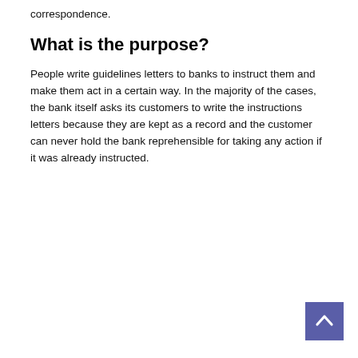correspondence.
What is the purpose?
People write guidelines letters to banks to instruct them and make them act in a certain way. In the majority of the cases, the bank itself asks its customers to write the instructions letters because they are kept as a record and the customer can never hold the bank reprehensible for taking any action if it was already instructed.
[Figure (other): Back to top navigation button — a purple/blue square with an upward-pointing chevron arrow in white.]